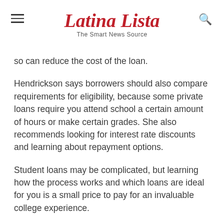Latina Lista – The Smart News Source
so can reduce the cost of the loan.
Hendrickson says borrowers should also compare requirements for eligibility, because some private loans require you attend school a certain amount of hours or make certain grades. She also recommends looking for interest rate discounts and learning about repayment options.
Student loans may be complicated, but learning how the process works and which loans are ideal for you is a small price to pay for an invaluable college experience.